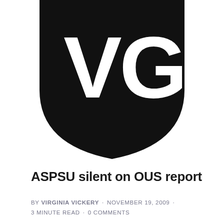[Figure (logo): Black shield-shaped logo with white letters VG in bold, representing Virginia Gazzette or similar publication]
ASPSU silent on OUS report
by VIRGINIA VICKERY · NOVEMBER 19, 2009 · 3 MINUTE READ · 0 COMMENTS